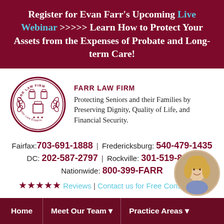Register for Evan Farr's Upcoming Live Webinar >>>>> Learn How to Protect Your Assets from the Expenses of Probate and Long-term Care!
[Figure (logo): Farr Law Firm circular seal logo with columns and laurel wreath, text 'FARR LAW FIRM Elder Law Experts']
FARR LAW FIRM
Protecting Seniors and their Families by Preserving Dignity, Quality of Life, and Financial Security.
Fairfax: 703-691-1888 | Fredericksburg: 540-479-1435
DC: 202-587-2797 | Rockville: 301-519-8041
Nationwide: 800-399-FARR
★★★★★ Reviews | Contact us for Free Consultation
[Figure (photo): Circular portrait photo of a blonde woman smiling, positioned at bottom right]
Home | Meet Our Team ▾ | Practice Areas ▾